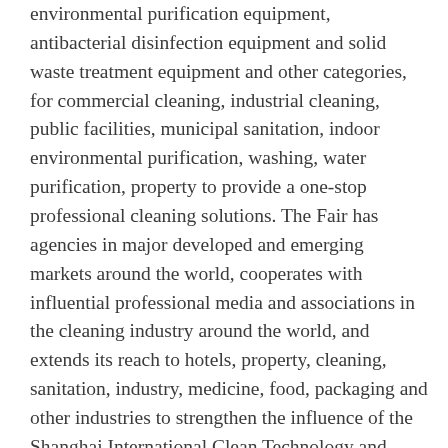environmental purification equipment, antibacterial disinfection equipment and solid waste treatment equipment and other categories, for commercial cleaning, industrial cleaning, public facilities, municipal sanitation, indoor environmental purification, washing, water purification, property to provide a one-stop professional cleaning solutions. The Fair has agencies in major developed and emerging markets around the world, cooperates with influential professional media and associations in the cleaning industry around the world, and extends its reach to hotels, property, cleaning, sanitation, industry, medicine, food, packaging and other industries to strengthen the influence of the Shanghai International Clean Technology and Equipment Expo in different regions and fields. As the flagship exhibition of the clean industry in Asia, CCE has enjoyed a high reputation in Asia and internationally through the unremitting efforts of the 20th session. Most internationally renowned brands such as Hako, 3M, AMETEK, AR, Aztec, Columbus, Comstar, Ecolab, Fimap, Idrobase, Interpump, JLG, Johnson Deversey, Karcher, Kranzle, NCL, Nilfisk-Alto, TENNANT, Viper Shanghai International